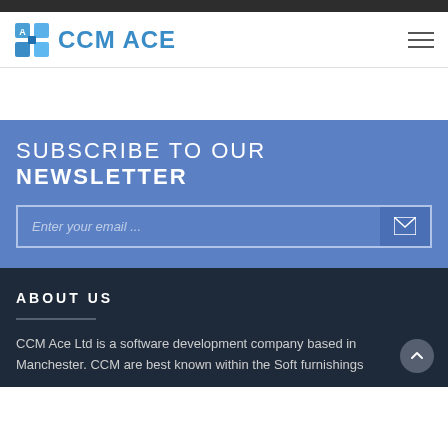[Figure (logo): CCM ACE logo with blue mosaic tiles icon and blue bold text 'CCM ACE']
SUBSCRIBE TO OUR NEWSLETTER
Enter your email ...
ABOUT US
CCM Ace Ltd is a software development company based in Manchester. CCM are best known within the Soft furnishings...